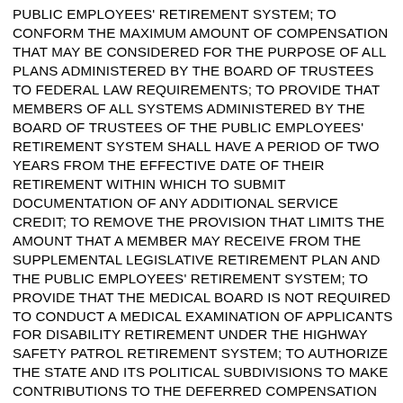PUBLIC EMPLOYEES' RETIREMENT SYSTEM; TO CONFORM THE MAXIMUM AMOUNT OF COMPENSATION THAT MAY BE CONSIDERED FOR THE PURPOSE OF ALL PLANS ADMINISTERED BY THE BOARD OF TRUSTEES TO FEDERAL LAW REQUIREMENTS; TO PROVIDE THAT MEMBERS OF ALL SYSTEMS ADMINISTERED BY THE BOARD OF TRUSTEES OF THE PUBLIC EMPLOYEES' RETIREMENT SYSTEM SHALL HAVE A PERIOD OF TWO YEARS FROM THE EFFECTIVE DATE OF THEIR RETIREMENT WITHIN WHICH TO SUBMIT DOCUMENTATION OF ANY ADDITIONAL SERVICE CREDIT; TO REMOVE THE PROVISION THAT LIMITS THE AMOUNT THAT A MEMBER MAY RECEIVE FROM THE SUPPLEMENTAL LEGISLATIVE RETIREMENT PLAN AND THE PUBLIC EMPLOYEES' RETIREMENT SYSTEM; TO PROVIDE THAT THE MEDICAL BOARD IS NOT REQUIRED TO CONDUCT A MEDICAL EXAMINATION OF APPLICANTS FOR DISABILITY RETIREMENT UNDER THE HIGHWAY SAFETY PATROL RETIREMENT SYSTEM; TO AUTHORIZE THE STATE AND ITS POLITICAL SUBDIVISIONS TO MAKE CONTRIBUTIONS TO THE DEFERRED COMPENSATION PLAN ON BEHALF OF PARTICIPATING MEMBERS; TO MAKE IT CLEAR THAT THE DEFERRED COMPENSATION PROGRAM SHALL BE OPERATED IN ACCORDANCE WITH THE GUIDELINES